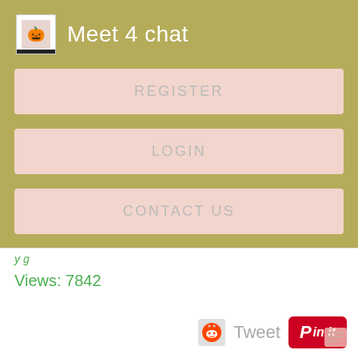Meet 4 chat
REGISTER
LOGIN
CONTACT US
Views: 7842
Tweet
[Figure (screenshot): Pin it button (Pinterest) and Reddit icon social sharing buttons]